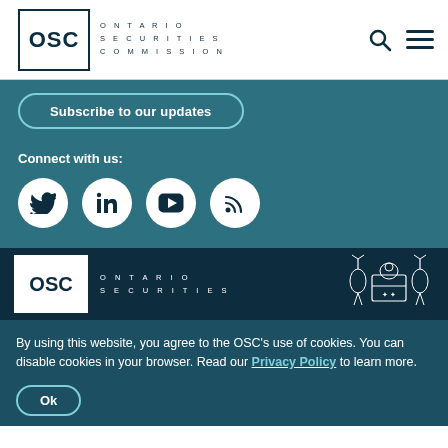[Figure (logo): OSC Ontario Securities Commission logo with search and menu icons in navigation bar]
Subscribe to our updates
Connect with us:
[Figure (logo): Social media icons: Twitter, LinkedIn, YouTube, RSS feed in white circles on teal background]
[Figure (logo): OSC Ontario Securities Commission footer logo with Ontario coat of arms crest on dark navy background]
By using this website, you agree to the OSC's use of cookies. You can disable cookies in your browser. Read our Privacy Policy to learn more.
Ok